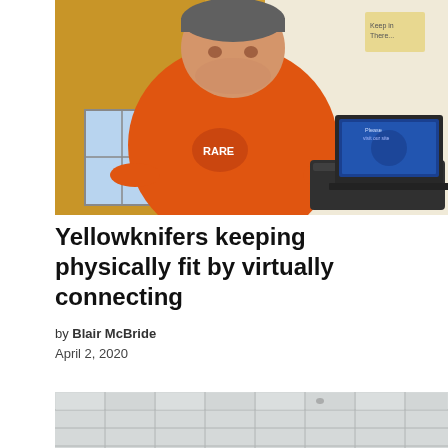[Figure (photo): A man in an orange t-shirt with a beanie hat standing next to a treadmill with a laptop on it. Background shows a yellow/orange wall and a window.]
Yellowknifers keeping physically fit by virtually connecting
by Blair McBride
April 2, 2020
[Figure (photo): Interior ceiling of a building with drop ceiling tiles visible.]